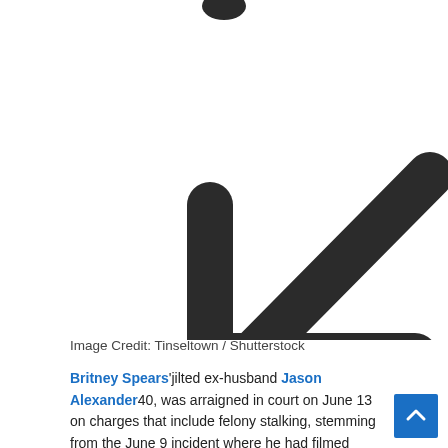[Figure (illustration): Large diagonal arrow pointing down-left (southwest direction), rendered as a thick dark icon on white background. Also a small partial dark icon visible at top center.]
Image Credit: Tinseltown / Shutterstock
Britney Spears' jilted ex-husband Jason Alexander 40, was arraigned in court on June 13 on charges that include felony stalking, stemming from the June 9 incident where he had filmed himself trespassing onto Britney's property just prior to her wedding to Sam Asghari 28. And now, HollywoodLife has learned from Britney's attorney,